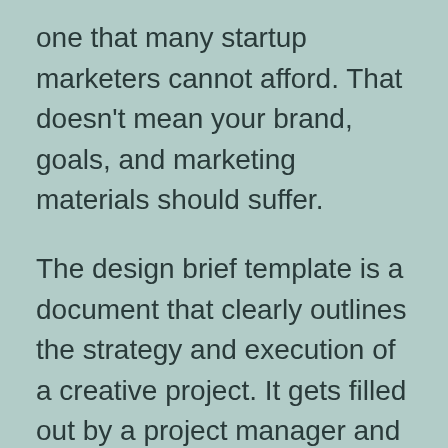one that many startup marketers cannot afford. That doesn't mean your brand, goals, and marketing materials should suffer.
The design brief template is a document that clearly outlines the strategy and execution of a creative project. It gets filled out by a project manager and given to a designer before any work begins. This easy to use template helps set defined expectations early to eliminate the need for endless rough drafts.
The template includes essential details to kick off your design projects, such as the